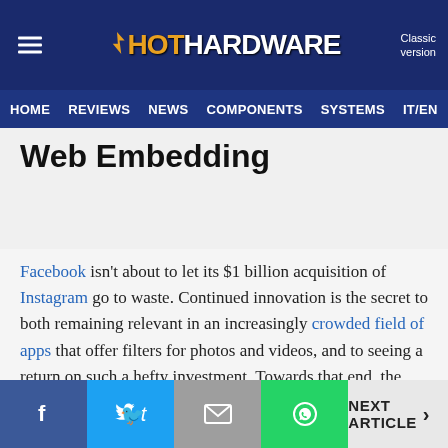HotHardware — Classic version | HOME | REVIEWS | NEWS | COMPONENTS | SYSTEMS | IT/EN
Web Embedding
Facebook isn't about to let its $1 billion acquisition of Instagram go to waste. Continued innovation is the secret to both remaining relevant in an increasingly crowded field of apps that offer filters for photos and videos, and to seeing a return on such a hefty investment. Towards that end, the Instagram team just unveiled web embedding for photos and videos.
NEXT ARTICLE >